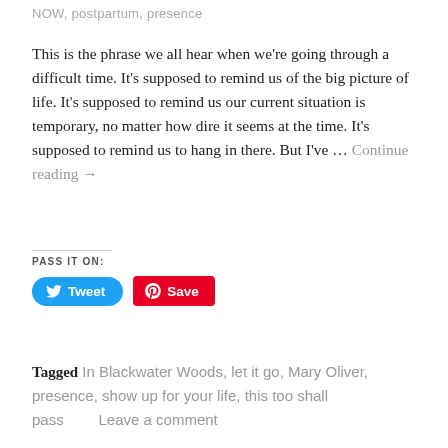NOW, postpartum, presence
This is the phrase we all hear when we're going through a difficult time. It's supposed to remind us of the big picture of life. It's supposed to remind us our current situation is temporary, no matter how dire it seems at the time. It's supposed to remind us to hang in there. But I've … Continue reading →
PASS IT ON:
Tagged In Blackwater Woods, let it go, Mary Oliver, presence, show up for your life, this too shall pass   Leave a comment